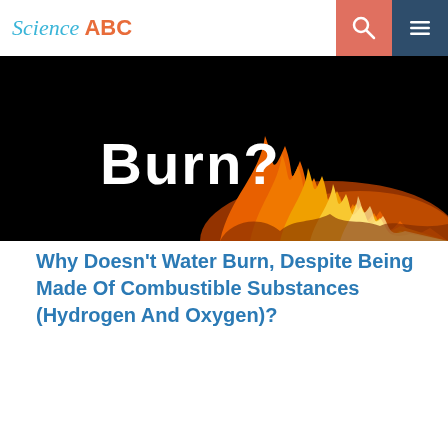Science ABC
[Figure (photo): Hero image showing white bold text 'Burn?' on a black background with orange and yellow flames on the right side]
Why Doesn't Water Burn, Despite Being Made Of Combustible Substances (Hydrogen And Oxygen)?